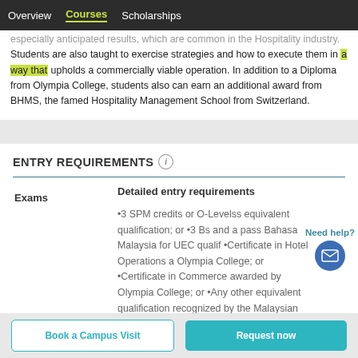Overview | Courses | Scholarships
especially anticipated results, which are common in the Hospitality industry. Students are also taught to exercise strategies and how to execute them in a way that upholds a commercially viable operation. In addition to a Diploma from Olympia College, students also can earn an additional award from BHMS, the famed Hospitality Management School from Switzerland.
ENTRY REQUIREMENTS
| Exams | Detailed entry requirements |
| --- | --- |
|  | •3 SPM credits or O-Levelss equivalent qualification; or •3 Bs and a pass Bahasa Malaysia for UEC qualif •Certificate in Hotel Operations awarded by Olympia College; or •Certificate in Commerce awarded by Olympia College; or •Any other equivalent qualification recognized by the Malaysian Ministry of Education |
Need help?
Book a Campus Visit
Request now